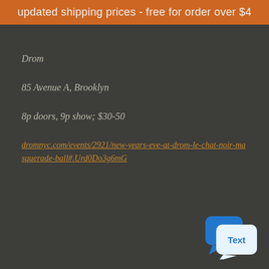updated shipping prices - free for order over $4
Drom
85 Avenue A, Brooklyn
8p doors, 9p show; $30-50
dromnyc.com/events/2921/new-years-eve-at-drom-le-chat-noir-masquerade-ball#.Urd0Do3g6mG
[Figure (illustration): Blue speech bubble / chat icon with 'Text' label]